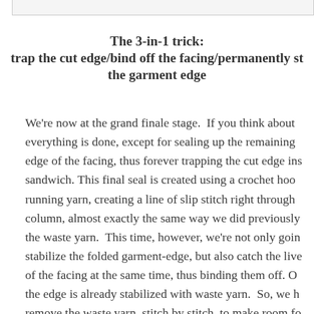The 3-in-1 trick: trap the cut edge/bind off the facing/permanently stitch the garment edge
We're now at the grand finale stage. If you think about everything is done, except for sealing up the remaining edge of the facing, thus forever trapping the cut edge in sandwich. This final seal is created using a crochet hook running yarn, creating a line of slip stitch right through column, almost exactly the same way we did previously the waste yarn. This time, however, we're not only going to stabilize the folded garment-edge, but also catch the live stitches of the facing at the same time, thus binding them off. Of course, the edge is already stabilized with waste yarn. So, we have to remove the waste yarn, stitch by stitch, to make room for a permanent slip stitch along the same edge. This is where